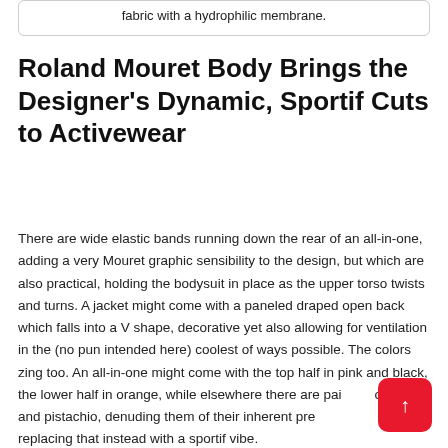fabric with a hydrophilic membrane.
Roland Mouret Body Brings the Designer's Dynamic, Sportif Cuts to Activewear
There are wide elastic bands running down the rear of an all-in-one, adding a very Mouret graphic sensibility to the design, but which are also practical, holding the bodysuit in place as the upper torso twists and turns. A jacket might come with a paneled draped open back which falls into a V shape, decorative yet also allowing for ventilation in the (no pun intended here) coolest of ways possible. The colors zing too. An all-in-one might come with the top half in pink and black, the lower half in orange, while elsewhere there are pairings of lilac and pistachio, denuding them of their inherent preciousness and replacing that instead with a sportif vibe.